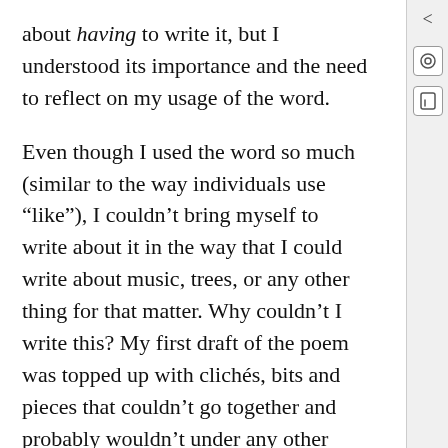about having to write it, but I understood its importance and the need to reflect on my usage of the word.
Even though I used the word so much (similar to the way individuals use “like”), I couldn’t bring myself to write about it in the way that I could write about music, trees, or any other thing for that matter. Why couldn’t I write this? My first draft of the poem was topped up with clichés, bits and pieces that couldn’t go together and probably wouldn’t under any other circumstance. According to my advisor, I was being abstract with phrases like: “mouth on fire” and “purging sanity”. I accused myself of being lazy when including lines that read: sinks to the pit/of my stomach”. What in the world were you thinking?